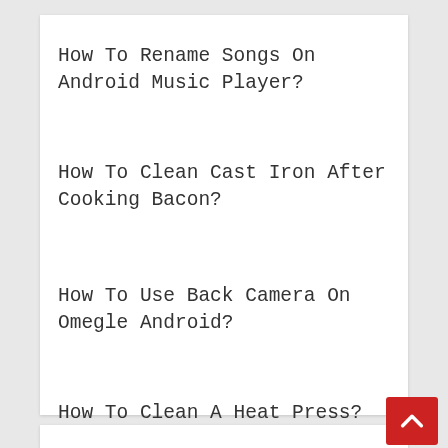How To Rename Songs On Android Music Player?
How To Clean Cast Iron After Cooking Bacon?
How To Use Back Camera On Omegle Android?
How To Clean A Heat Press?
How To Reset Sims 4 Ps4?